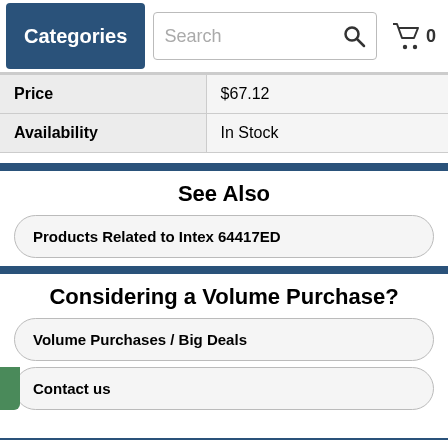Categories | Search | 0
| Price | $67.12 |
| Availability | In Stock |
See Also
Products Related to Intex 64417ED
Considering a Volume Purchase?
Volume Purchases / Big Deals
Contact us
Shop with confidence! Provantage is an authorized Intex dealer. Authorized Dealer